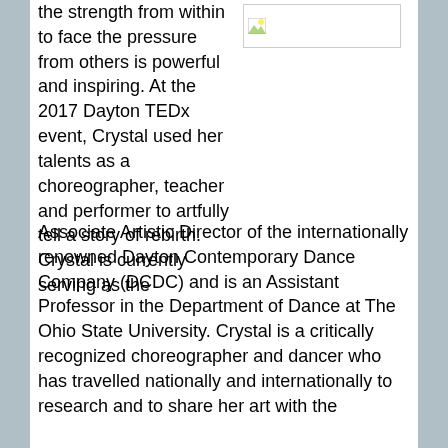the strength from within to face the pressure from others is powerful and inspiring. At the 2017 Dayton TEDx event, Crystal used her talents as a choreographer, teacher and performer to artfully tell a story of rebirth. Crystal is currently serving as the Associate Artistic Director of the internationally renowned Dayton Contemporary Dance Company (DCDC) and is an Assistant Professor in the Department of Dance at The Ohio State University. Crystal is a critically recognized choreographer and dancer who has travelled nationally and internationally to research and to share her art with the
[Figure (photo): A partially loaded or broken image placeholder in the upper right area of the content column]